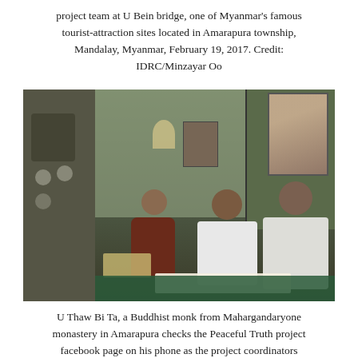project team at U Bein bridge, one of Myanmar's famous tourist-attraction sites located in Amarapura township, Mandalay, Myanmar, February 19, 2017. Credit: IDRC/Minzayar Oo
[Figure (photo): A Buddhist monk in maroon robes sits on the floor with two men in white t-shirts in a room with green walls, posters, and a framed portrait on the wall, all looking at documents laid on the floor.]
U Thaw Bi Ta, a Buddhist monk from Mahargandaryone monastery in Amarapura checks the Peaceful Truth project facebook page on his phone as the project coordinators